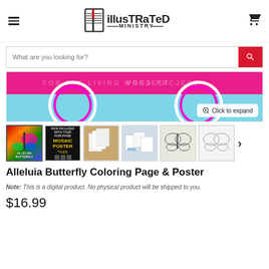Illustrated Ministry — website header with hamburger menu, logo, and cart icon
[Figure (screenshot): Search bar with placeholder text 'What are you looking for?' and red search button]
[Figure (photo): Main product image banner showing colorful butterfly design with pink and blue gradient, with 'Click to expand' overlay button]
[Figure (photo): Thumbnail gallery with 6 images: colorful butterfly cover, mosaic poster tiles, white paper tiles on table, close-up tiles, butterfly line art, butterfly coloring outline]
Alleluia Butterfly Coloring Page & Poster
Note: This is a digital product. No physical product will be shipped to you.
$16.99